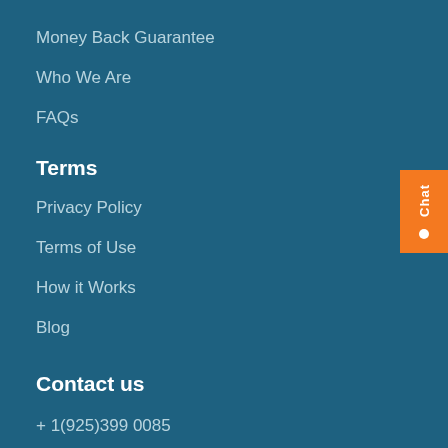Money Back Guarantee
Who We Are
FAQs
Terms
Privacy Policy
Terms of Use
How it Works
Blog
Contact us
+ 1(925)399 0085
info@studyacers.com